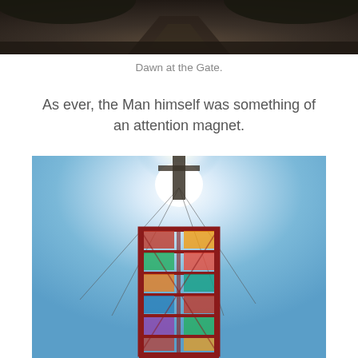[Figure (photo): Top portion of a photo showing a dark outdoor scene, likely dawn at a gate, cropped at the top of the page]
Dawn at the Gate.
As ever, the Man himself was something of an attention magnet.
[Figure (photo): Photo of a tall red lattice tower structure (the Burning Man figure) shot from below against a bright blue sky, with the sun blazing behind the top of the figure, creating a glowing halo effect. The tower has colorful panels and cables extending outward.]